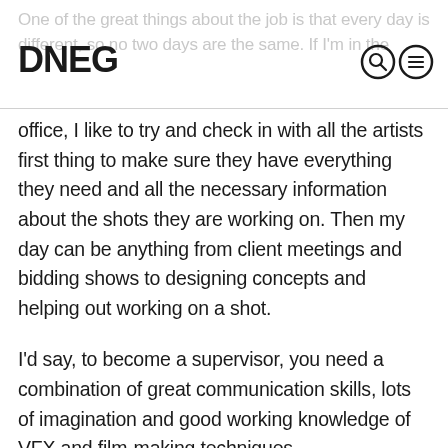One of the great things about the job is that every day is different, so no two days are the same. If I'm in the
DNEG
office, I like to try and check in with all the artists first thing to make sure they have everything they need and all the necessary information about the shots they are working on. Then my day can be anything from client meetings and bidding shows to designing concepts and helping out working on a shot.
I'd say, to become a supervisor, you need a combination of great communication skills, lots of imagination and good working knowledge of VFX and film-making techniques.
As to artist count? Depending on the show's needs, TV VFX teams can fluctuate anywhere from between 5 to